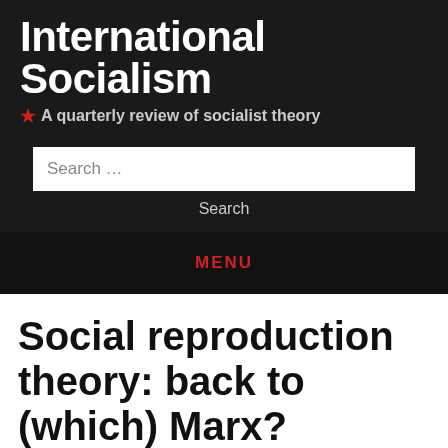International Socialism
★ A quarterly review of socialist theory
Search ...
Search
MENU
Social reproduction theory: back to (which) Marx?